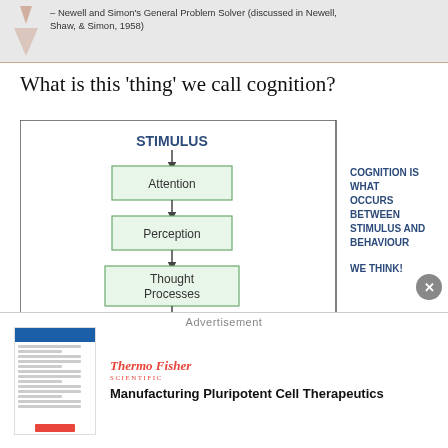– Newell and Simon's General Problem Solver (discussed in Newell, Shaw, & Simon, 1958)
What is this 'thing' we call cognition?
[Figure (flowchart): Flowchart showing STIMULUS at top, with downward arrows to: Attention box, Perception box, Thought Processes box, Decision box. To the right: 'COGNITION IS WHAT OCCURS BETWEEN STIMULUS AND BEHAVIOUR' and 'WE THINK!']
Advertisement
[Figure (logo): Thermo Fisher Scientific logo with document thumbnail]
Manufacturing Pluripotent Cell Therapeutics